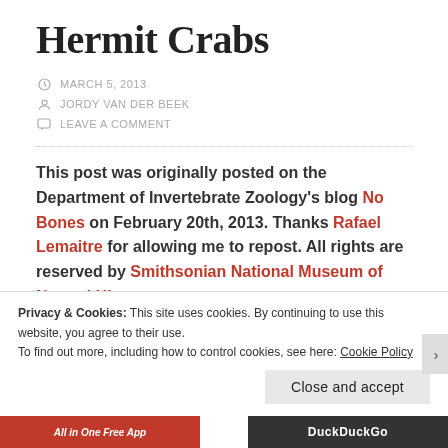Hermit Crabs
MARCH 5, 2013
JORDY VAN DER BEEK
LEAVE A COMMENT
This post was originally posted on the Department of Invertebrate Zoology's blog No Bones on February 20th, 2013. Thanks Rafael Lemaitre for allowing me to repost. All rights are reserved by Smithsonian National Museum of Natural History.
Privacy & Cookies: This site uses cookies. By continuing to use this website, you agree to their use.
To find out more, including how to control cookies, see here: Cookie Policy
Close and accept
All in One Free App
DuckDuckGo